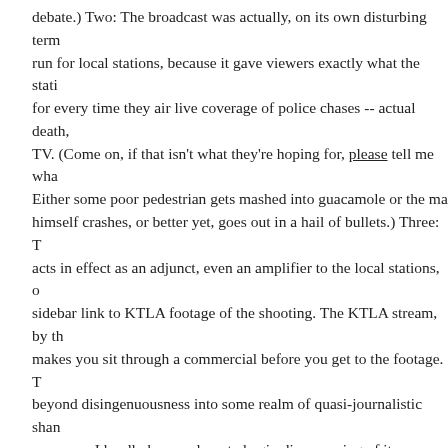debate.) Two: The broadcast was actually, on its own disturbing terms, a good run for local stations, because it gave viewers exactly what the stations hope for every time they air live coverage of police chases -- actual death, live on TV. (Come on, if that isn't what they're hoping for, please tell me what. Either some poor pedestrian gets mashed into guacamole or the man himself crashes, or better yet, goes out in a hail of bullets.) Three: The acts in effect as an adjunct, even an amplifier to the local stations, offering a sidebar link to KTLA footage of the shooting. The KTLA stream, by the way, makes you sit through a commercial before you get to the footage. This beyond disingenuousness into some realm of quasi-journalistic shame that's so creepy I hardly know where to begin disapproving of it.
Feb 24, 2004 2:43:07 PM | Press
Comment 1   Reblog It 0
News Roundup
Let's see, what's in the news today? Lena Horne is scandalized by Janet Jackson. Justin Timberlake has bowed out as host of the upcoming "Motown 45" TV special, citing a "scheduling conflict" (i.e., "If that scrawny poster actually hosts the Motown special, it'll be time to write some angry l